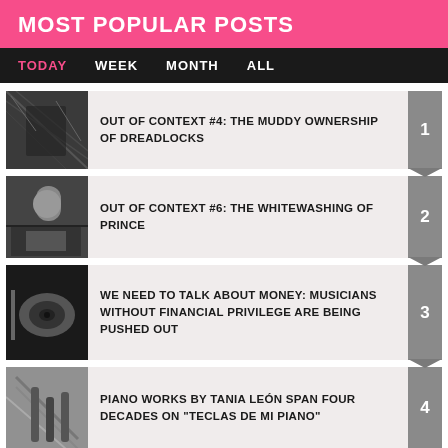MOST POPULAR POSTS
TODAY  WEEK  MONTH  ALL
OUT OF CONTEXT #4: THE MUDDY OWNERSHIP OF DREADLOCKS
OUT OF CONTEXT #6: THE WHITEWASHING OF PRINCE
WE NEED TO TALK ABOUT MONEY: MUSICIANS WITHOUT FINANCIAL PRIVILEGE ARE BEING PUSHED OUT
PIANO WORKS BY TANIA LEÓN SPAN FOUR DECADES ON "TECLAS DE MI PIANO"
AM I GOING TO KILL MY CAREER IF I'M NOT ON SOCIAL MEDIA ANYMORE?